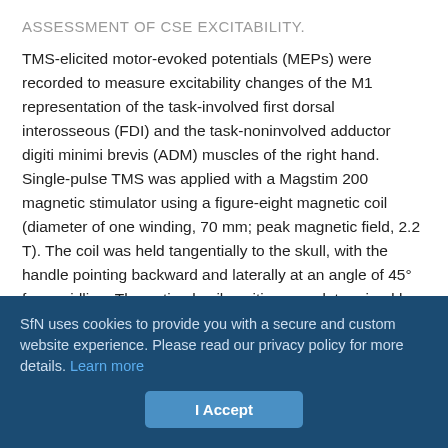ASSESSMENT OF CSE EXCITABILITY.
TMS-elicited motor-evoked potentials (MEPs) were recorded to measure excitability changes of the M1 representation of the task-involved first dorsal interosseous (FDI) and the task-noninvolved adductor digiti minimi brevis (ADM) muscles of the right hand. Single-pulse TMS was applied with a Magstim 200 magnetic stimulator using a figure-eight magnetic coil (diameter of one winding, 70 mm; peak magnetic field, 2.2 T). The coil was held tangentially to the skull, with the handle pointing backward and laterally at an angle of 45° from midline. The optimal coil position was determined by the location on the scalp where stimulation consistency resulted in the largest MEP at rest for the FDI ("motor
SfN uses cookies to provide you with a secure and custom website experience. Please read our privacy policy for more details. Learn more
I Accept